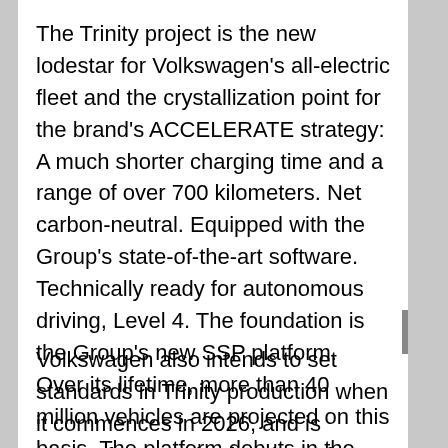The Trinity project is the new lodestar for Volkswagen's all-electric fleet and the crystallization point for the brand's ACCELERATE strategy: A much shorter charging time and a range of over 700 kilometers. Net carbon-neutral. Equipped with the Group's state-of-the-art software. Technically ready for autonomous driving, Level 4. The foundation is the Group's new SSP platform. Over its lifetime, more than 40 million vehicles are projected on this basis. The platform debuts in the volume segment with Trinity.
Volkswagen also intends to set standards in Trinity production when it commences in 2026, and is aiming for a production time of 10 hours…